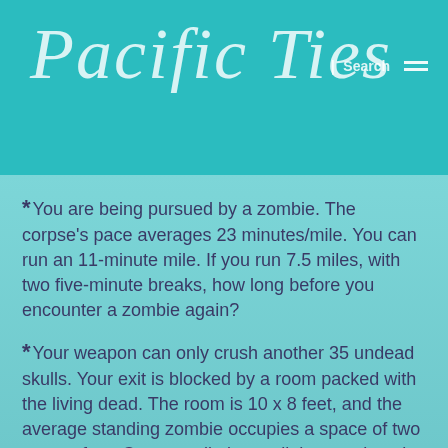Pacific Ties
You are being pursued by a zombie. The corpse's pace averages 23 minutes/mile. You can run an 11-minute mile. If you run 7.5 miles, with two five-minute breaks, how long before you encounter a zombie again?
Your weapon can only crush another 35 undead skulls. Your exit is blocked by a room packed with the living dead. The room is 10 x 8 feet, and the average standing zombie occupies a space of two square feet. Can you eliminate all the attackers in the room?